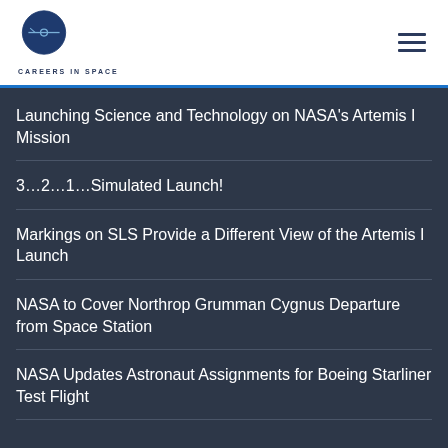CAREERS IN SPACE
Launching Science and Technology on NASA's Artemis I Mission
3…2…1…Simulated Launch!
Markings on SLS Provide a Different View of the Artemis I Launch
NASA to Cover Northrop Grumman Cygnus Departure from Space Station
NASA Updates Astronaut Assignments for Boeing Starliner Test Flight